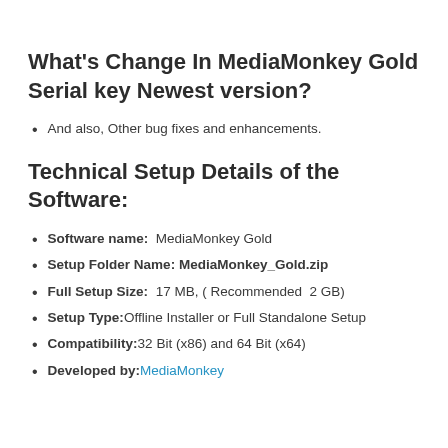What’s Change In MediaMonkey Gold Serial key Newest version?
And also, Other bug fixes and enhancements.
Technical Setup Details of the Software:
Software name: MediaMonkey Gold
Setup Folder Name: MediaMonkey_Gold.zip
Full Setup Size: 17 MB, ( Recommended 2 GB)
Setup Type: Offline Installer or Full Standalone Setup
Compatibility: 32 Bit (x86) and 64 Bit (x64)
Developed by: MediaMonkey